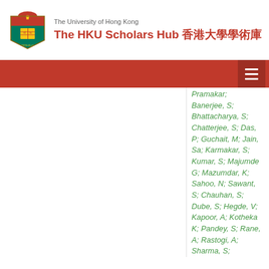The University of Hong Kong — The HKU Scholars Hub 香港大學學術庫
Pramanik, S; Banerjee, S; Bhattacharya, S; Chatterjee, S; Das, P; Guchait, M; Jain, Sa; Karmakar, S; Kumar, S; Majumder, G; Mazumdar, K; Sahoo, N; Sawant, S; Chauhan, S; Dube, S; Hegde, V; Kapoor, A; Kotheka, K; Pandey, S; Rane, A; Rastogi, A; Sharma, S; Chenarani, S; Eskandari Tadavani, E; Etesami, SM;